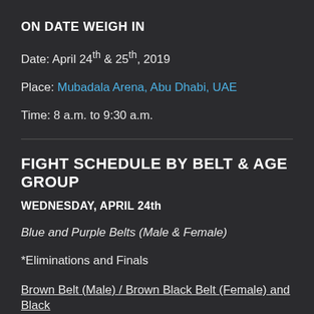ON DATE WEIGH IN
Date: April 24th & 25th, 2019
Place: Mubadala Arena, Abu Dhabi, UAE
Time: 8 a.m. to 9:30 a.m.
FIGHT SCHEDULE BY BELT & AGE GROUP
WEDNESDAY, APRIL 24th
Blue and Purple Belts (Male & Female)
*Eliminations and Finals
Brown Belt (Male) / Brown Black Belt (Female) and Black